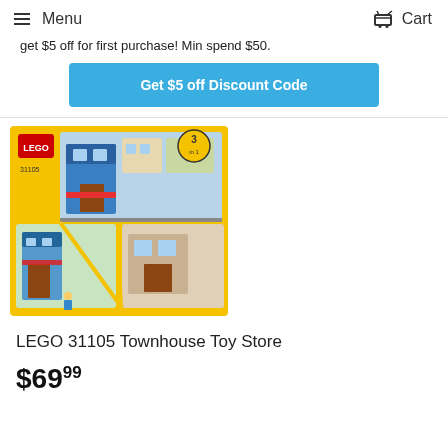Menu  Cart
get $5 off for first purchase! Min spend $50.
Get $5 off Discount Code
[Figure (photo): LEGO 31105 Townhouse Toy Store product box image showing a colorful LEGO Creator set with toy store building on a yellow box]
LEGO 31105 Townhouse Toy Store
$69.99